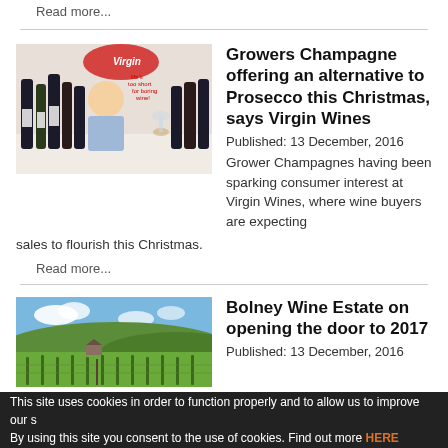Read more...
[Figure (photo): Man sitting behind wine bottles at Virgin Wines, with Virgin Wines branding in background]
Growers Champagne offering an alternative to Prosecco this Christmas, says Virgin Wines
Published:  13 December, 2016
Grower Champagnes having been sparking consumer interest at Virgin Wines, where wine buyers are expecting sales to flourish this Christmas.
Read more...
[Figure (photo): Aerial view of Bolney Wine Estate vineyard with green rows of vines and countryside in background]
Bolney Wine Estate on opening the door to 2017
Published:  13 December, 2016
This site uses cookies in order to function properly and to allow us to improve our s... By using this site you consent to the use of cookies. Find out more HERE